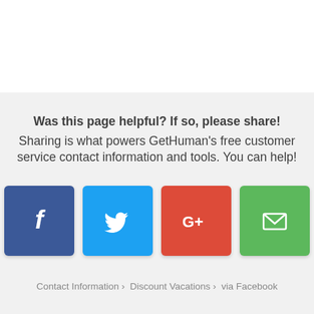Was this page helpful? If so, please share! Sharing is what powers GetHuman's free customer service contact information and tools. You can help!
[Figure (infographic): Four social sharing buttons: Facebook (blue, f icon), Twitter (light blue, bird icon), Google+ (red, G+ icon), Email (green, envelope icon)]
Contact Information › Discount Vacations › via Facebook